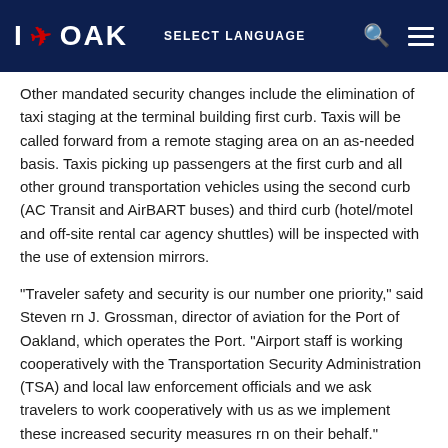I ✈ OAK   SELECT LANGUAGE
Other mandated security changes include the elimination of taxi staging at the terminal building first curb. Taxis will be called forward from a remote staging area on an as-needed basis. Taxis picking up passengers at the first curb and all other ground transportation vehicles using the second curb (AC Transit and AirBART buses) and third curb (hotel/motel and off-site rental car agency shuttles) will be inspected with the use of extension mirrors.
"Traveler safety and security is our number one priority," said Steven rn J. Grossman, director of aviation for the Port of Oakland, which operates the Port. "Airport staff is working cooperatively with the Transportation Security Administration (TSA) and local law enforcement officials and we ask travelers to work cooperatively with us as we implement these increased security measures rn on their behalf."
Travelers may also notice an increased presence of law enforcement officials in and around the terminal buildings and increased searches of baggage by the airport's canine unit while